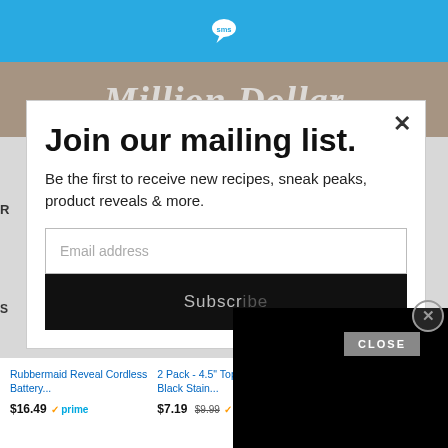SMS logo / header bar
[Figure (screenshot): Brown banner background showing cursive script text 'Million Dollar']
Join our mailing list.
Be the first to receive new recipes, sneak peaks, product reveals & more.
Email address
Subscribe
[Figure (screenshot): Black rectangle overlay covering right portion of modal (ad or video player)]
CLOSE
| Product | Price | Badge |
| --- | --- | --- |
| Rubbermaid Reveal Cordless Battery… | $16.49 prime |  |
| 2 Pack - 4.5" Top / 3" Basket - Black Stain… | $7.19 $9.99 prime |  |
| Kitchen Shears, iBayam Kitchen Scis… | $9.99 $10.99 prime |  |